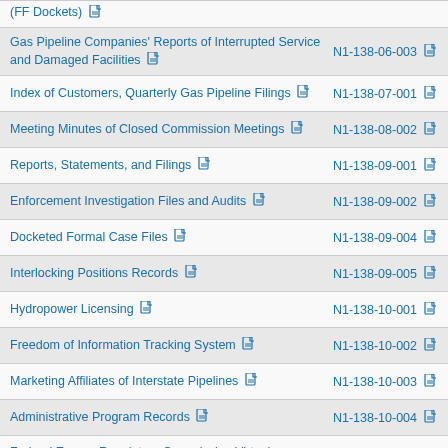(FF Dockets)
Gas Pipeline Companies' Reports of Interrupted Service and Damaged Facilities
Index of Customers, Quarterly Gas Pipeline Filings
Meeting Minutes of Closed Commission Meetings
Reports, Statements, and Filings
Enforcement Investigation Files and Audits
Docketed Formal Case Files
Interlocking Positions Records
Hydropower Licensing
Freedom of Information Tracking System
Marketing Affiliates of Interstate Pipelines
Administrative Program Records
Federal Energy Regulatory Commission Virtual